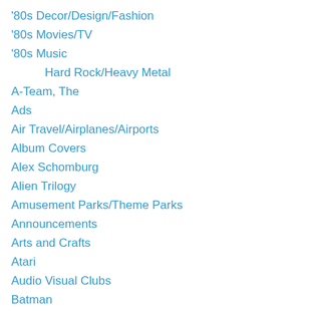'80s Decor/Design/Fashion
'80s Movies/TV
'80s Music
Hard Rock/Heavy Metal
A-Team, The
Ads
Air Travel/Airplanes/Airports
Album Covers
Alex Schomburg
Alien Trilogy
Amusement Parks/Theme Parks
Announcements
Arts and Crafts
Atari
Audio Visual Clubs
Batman
Battlestar Galactica
Mattel Toys
Bicycles/BMX
Big Jim (Mattel)